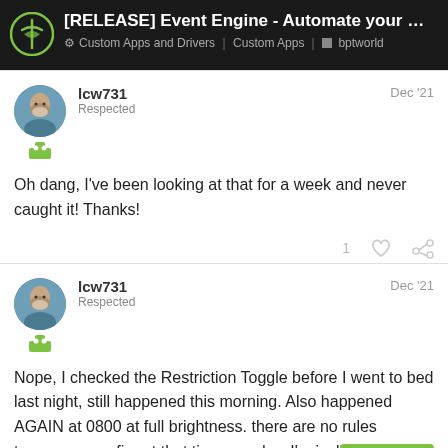[RELEASE] Event Engine - Automate your world ... | Custom Apps and Drivers | Custom Apps | bptworld
Oh dang, I've been looking at that for a week and never caught it! Thanks!
Nope, I checked the Restriction Toggle before I went to bed last night, still happened this morning. Also happened AGAIN at 0800 at full brightness. there are no rules t[o] fire at that time any day. I'm inclined to think this is something other than Event Engine. Is th[ere anything that] could be causing the errant commands to